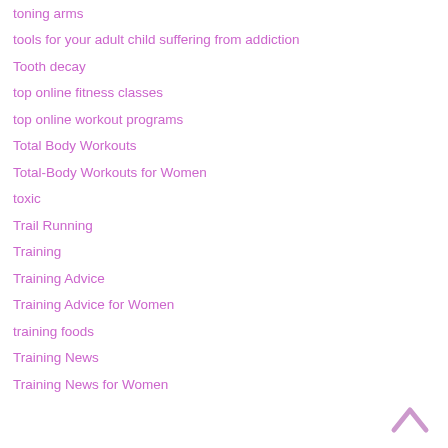toning arms
tools for your adult child suffering from addiction
Tooth decay
top online fitness classes
top online workout programs
Total Body Workouts
Total-Body Workouts for Women
toxic
Trail Running
Training
Training Advice
Training Advice for Women
training foods
Training News
Training News for Women
[Figure (other): Back to top chevron arrow icon in light pink/mauve color]